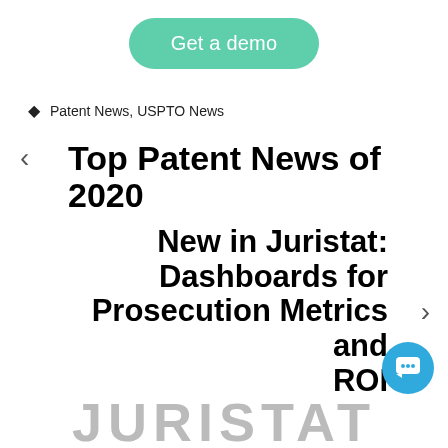[Figure (other): Green rounded button labeled 'Get a demo']
Patent News, USPTO News
Top Patent News of 2020
New in Juristat: Dashboards for Prosecution Metrics and ROI
[Figure (logo): JURISTAT logo text partially visible at page bottom]